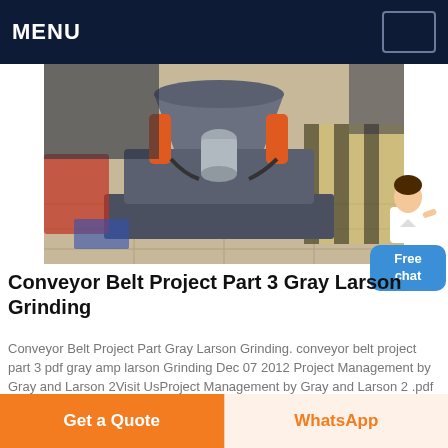MENU
[Figure (photo): Industrial grinding machine (cone crusher / mill) in gray and orange, sitting on a factory floor with yellow safety markings visible in the background.]
Conveyor Belt Project Part 3 Gray Larson Grinding
Conveyor Belt Project Part Gray Larson Grinding. conveyor belt project part 3 pdf gray amp larson Grinding Dec 07 2012 Project Management by Gray and Larson 2Visit UsProject Management by Gray and Larson 2 .pdf